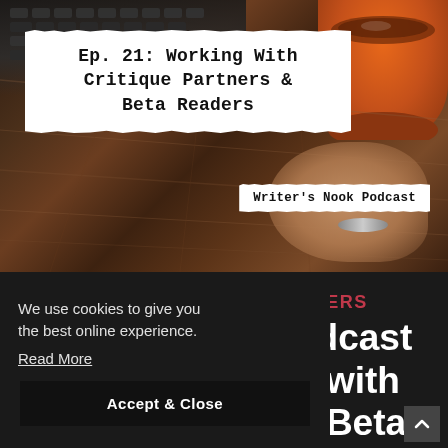[Figure (photo): Podcast episode cover image showing a person's hand holding an orange coffee cup on a wooden table with a laptop keyboard in the background. A torn-paper style title card reads 'Ep. 21: Working With Critique Partners & Beta Readers' and a smaller torn-paper label reads 'Writer's Nook Podcast'.]
Ep. 21: Working With Critique Partners & Beta Readers
Writer's Nook Podcast
We use cookies to give you the best online experience.
Read More
Accept & Close
RITERS
odcast
g with
d Beta